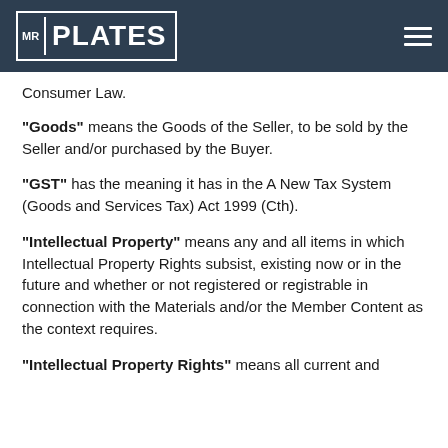MR PLATES
Consumer Law.
"Goods" means the Goods of the Seller, to be sold by the Seller and/or purchased by the Buyer.
"GST" has the meaning it has in the A New Tax System (Goods and Services Tax) Act 1999 (Cth).
"Intellectual Property" means any and all items in which Intellectual Property Rights subsist, existing now or in the future and whether or not registered or registrable in connection with the Materials and/or the Member Content as the context requires.
"Intellectual Property Rights" means all current and